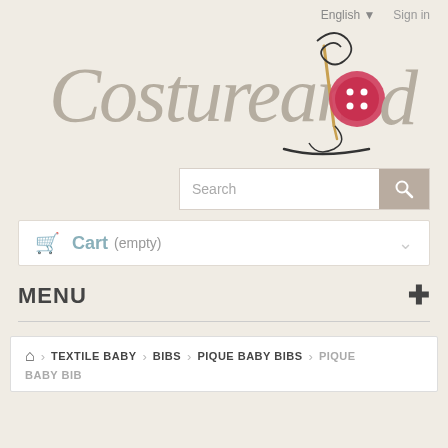English ▼   Sign in
[Figure (logo): Costureando logo with a needle, thread and red button forming the letter 'o']
Search
Cart (empty)
MENU +
🏠  TEXTILE BABY  >  BIBS  >  PIQUE BABY BIBS  >  PIQUE BABY BIB